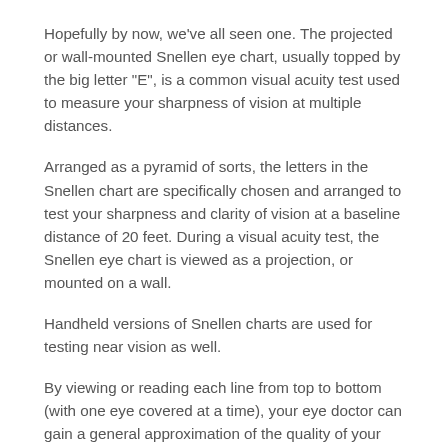Hopefully by now, we've all seen one. The projected or wall-mounted Snellen eye chart, usually topped by the big letter “E”, is a common visual acuity test used to measure your sharpness of vision at multiple distances.
Arranged as a pyramid of sorts, the letters in the Snellen chart are specifically chosen and arranged to test your sharpness and clarity of vision at a baseline distance of 20 feet. During a visual acuity test, the Snellen eye chart is viewed as a projection, or mounted on a wall.
Handheld versions of Snellen charts are used for testing near vision as well.
By viewing or reading each line from top to bottom (with one eye covered at a time), your eye doctor can gain a general approximation of the quality of your visual acuity, or sharpness. Where a line of characters begin to become difficult to see is the approximate measurement of your vision.
The Snellen chart serves as a beginning—not an end—to a